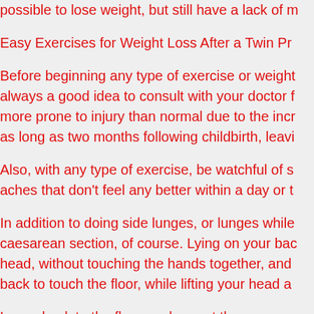possible to lose weight, but still have a lack of m
Easy Exercises for Weight Loss After a Twin Pr
Before beginning any type of exercise or weight always a good idea to consult with your doctor f more prone to injury than normal due to the incr as long as two months following childbirth, leavi
Also, with any type of exercise, be watchful of s aches that don't feel any better within a day or t
In addition to doing side lunges, or lunges while caesarean section, of course. Lying on your bac head, without touching the hands together, and back to touch the floor, while lifting your head a
Lower back to the floor, and repeat the process
Strength training and cardio workouts can invol dumbbells and ankle weights. Add yoga, tai chi, working different muscle groups as well as incre
While exercising, breathe in deeply through the only while you're working out, to avoid becoming before exercising, doing stretches for about 10 t muscles to protect them from injury.